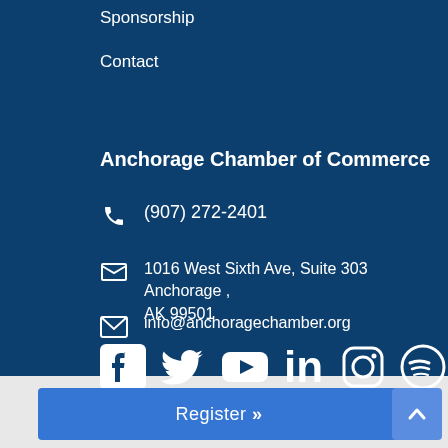Sponsorship
Contact
Anchorage Chamber of Commerce
(907) 272-2401
1016 West Sixth Ave, Suite 303 Anchorage , AK 99501
info@anchoragechamber.org
[Figure (illustration): Social media icons: Facebook, Twitter, YouTube, LinkedIn, Instagram, Spotify]
Register >>